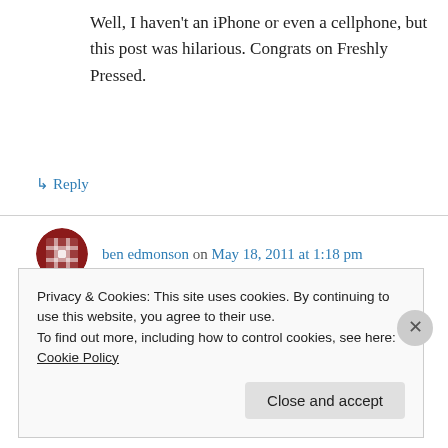Well, I haven't an iPhone or even a cellphone, but this post was hilarious. Congrats on Freshly Pressed.
↳ Reply
ben edmonson on May 18, 2011 at 1:18 pm
….this was so funny!
↳ Reply
Privacy & Cookies: This site uses cookies. By continuing to use this website, you agree to their use.
To find out more, including how to control cookies, see here: Cookie Policy